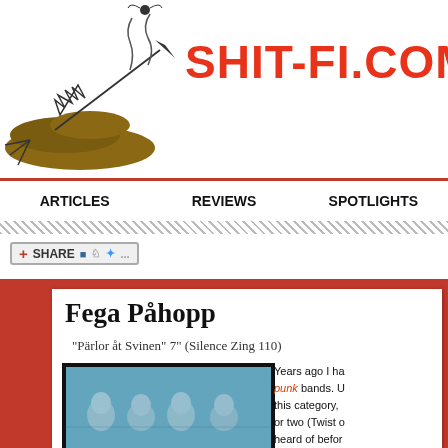[Figure (illustration): Shit-fi.com website header with cartoon illustration of a rocket made from poop with steam, and the site logo text SHIT-FI.COM in orange-red distressed font on the right.]
ARTICLES   REVIEWS   SPOTLIGHTS
[Figure (screenshot): Share button widget with plus icon, SHARE text, and social media icons]
Fega Påhopp
"Pärlor åt Svinen" 7" (Silence Zing 110)
[Figure (photo): Black and white photo with blue tint showing a group of young people smiling, appearing to be a band photo on the album cover]
Years ago I ha... punk bands. U... this category, or two (Twist ... heard of befor... bad), it justific...